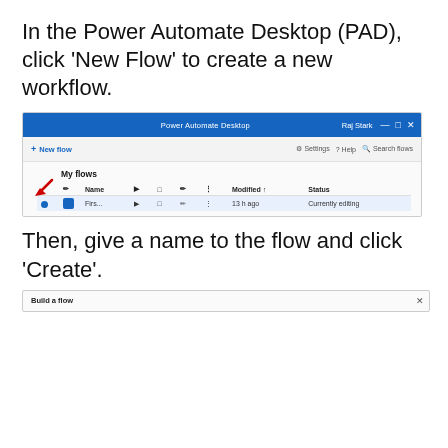In the Power Automate Desktop (PAD), click ‘New Flow’ to create a new workflow.
[Figure (screenshot): Screenshot of Power Automate Desktop application showing the main window with a blue title bar labeled 'Power Automate Desktop', a toolbar with '+ New flow' button (highlighted with a red arrow), and a 'My flows' section with a table showing columns: Name, Modified, Status. One flow entry is visible with 'Firs...' name, modified '13 h ago', status 'Currently editing'.]
Then, give a name to the flow and click ‘Create’.
[Figure (screenshot): Partial screenshot showing the bottom of a 'Build a flow' dialog with an X close button visible.]